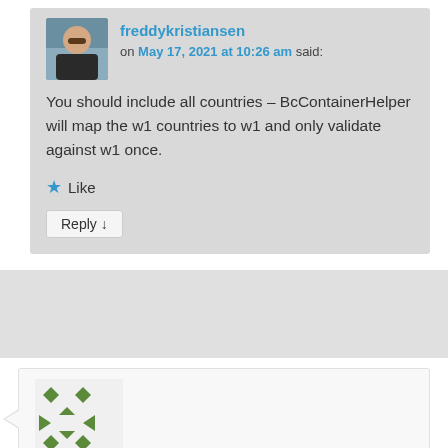freddykristiansen on May 17, 2021 at 10:26 am said:
You should include all countries – BcContainerHelper will map the w1 countries to w1 and only validate against w1 once.
Like
Reply ↓
Kuljit Singh on June 7, 2021 at 6:26 pm said:
Hi Freddy,